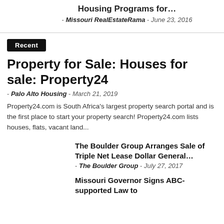Housing Programs for…
- Missouri RealEstateRama  -  June 23, 2016
Recent
Property for Sale: Houses for sale: Property24
- Palo Alto Housing  -  March 21, 2019
Property24.com is South Africa's largest property search portal and is the first place to start your property search! Property24.com lists houses, flats, vacant land...
The Boulder Group Arranges Sale of Triple Net Lease Dollar General…
- The Boulder Group  -  July 27, 2017
Missouri Governor Signs ABC-supported Law to